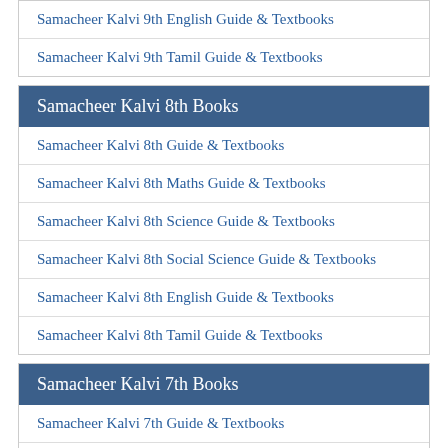Samacheer Kalvi 9th English Guide & Textbooks
Samacheer Kalvi 9th Tamil Guide & Textbooks
Samacheer Kalvi 8th Books
Samacheer Kalvi 8th Guide & Textbooks
Samacheer Kalvi 8th Maths Guide & Textbooks
Samacheer Kalvi 8th Science Guide & Textbooks
Samacheer Kalvi 8th Social Science Guide & Textbooks
Samacheer Kalvi 8th English Guide & Textbooks
Samacheer Kalvi 8th Tamil Guide & Textbooks
Samacheer Kalvi 7th Books
Samacheer Kalvi 7th Guide & Textbooks
Samacheer Kalvi 7th Maths Guide & Textbooks
Samacheer Kalvi 7th Science Guide & Textbooks